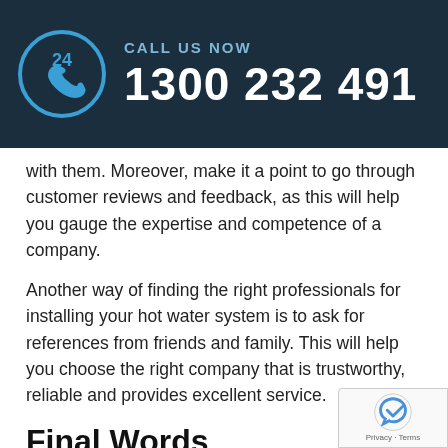CALL US NOW 1300 232 491
with them. Moreover, make it a point to go through customer reviews and feedback, as this will help you gauge the expertise and competence of a company.
Another way of finding the right professionals for installing your hot water system is to ask for references from friends and family. This will help you choose the right company that is trustworthy, reliable and provides excellent service.
Final Words
Although you may find several mid-range and budget hot water systems on the market, calculating the price isn't always straightforward. You need to consider other aspects like your location, the installation and delivery charges, and other essential factors.